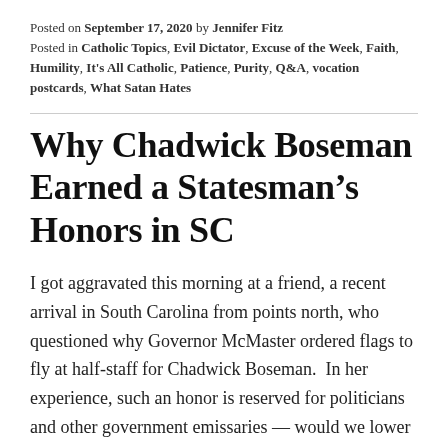Posted on September 17, 2020 by Jennifer Fitz
Posted in Catholic Topics, Evil Dictator, Excuse of the Week, Faith, Humility, It's All Catholic, Patience, Purity, Q&A, vocation postcards, What Satan Hates
Why Chadwick Boseman Earned a Statesman's Honors in SC
I got aggravated this morning at a friend, a recent arrival in South Carolina from points north, who questioned why Governor McMaster ordered flags to fly at half-staff for Chadwick Boseman.  In her experience, such an honor is reserved for politicians and other government emissaries — would we lower the flag for xyz other locally-grown actor who is just as talented?